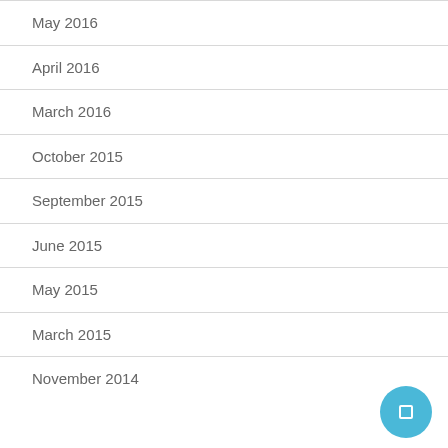May 2016
April 2016
March 2016
October 2015
September 2015
June 2015
May 2015
March 2015
November 2014